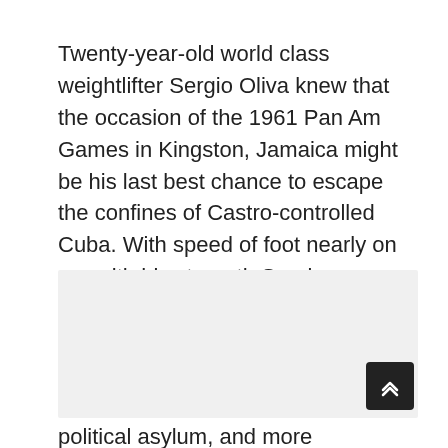Twenty-year-old world class weightlifter Sergio Oliva knew that the occasion of the 1961 Pan Am Games in Kingston, Jamaica might be his last best chance to escape the confines of Castro-controlled Cuba. With speed of foot nearly on par with his strength Sergio sprinted for the nearby American consulate. He and the entire Cuban weightlifting team, who immediately followed his lead, were granted political asylum, and more significantly, their freedom.